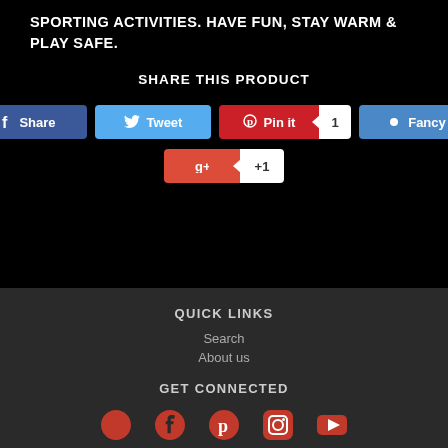SPORTING ACTIVITIES. HAVE FUN, STAY WARM & PLAY SAFE.
SHARE THIS PRODUCT
[Figure (other): Social sharing buttons: Facebook Share, Tweet, Pinterest Pin it (count: 1), Fancy, Google +1]
QUICK LINKS
Search
About us
GET CONNECTED
[Figure (other): Social media icons: Twitter, Facebook, Pinterest, Instagram, YouTube]